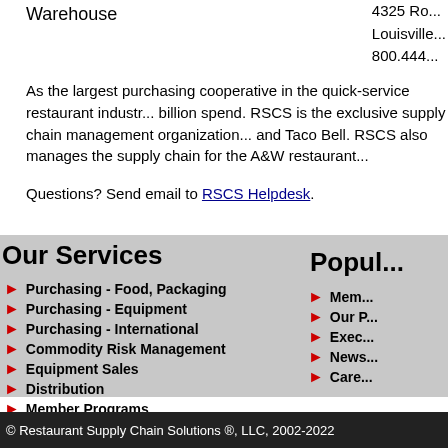Warehouse
4325 Ro...
Louisville...
800.444...
As the largest purchasing cooperative in the quick-service restaurant industry... billion spend. RSCS is the exclusive supply chain management organization... and Taco Bell. RSCS also manages the supply chain for the A&W restaurant...
Questions? Send email to RSCS Helpdesk.
Our Services
Popul...
Purchasing - Food, Packaging
Purchasing - Equipment
Purchasing - International
Commodity Risk Management
Equipment Sales
Distribution
Member Programs
Mem...
Our P...
Exec...
News...
Care...
© Restaurant Supply Chain Solutions ®, LLC, 2002-2022